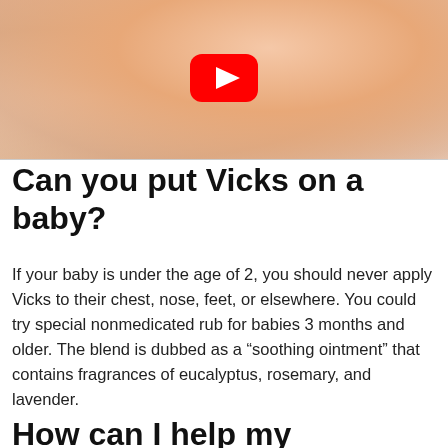[Figure (photo): Close-up photo of a sleeping baby with skin visible, with a YouTube play button overlay in the top center]
Can you put Vicks on a baby?
If your baby is under the age of 2, you should never apply Vicks to their chest, nose, feet, or elsewhere. You could try special nonmedicated rub for babies 3 months and older. The blend is dubbed as a “soothing ointment” that contains fragrances of eucalyptus, rosemary, and lavender.
How can I help my